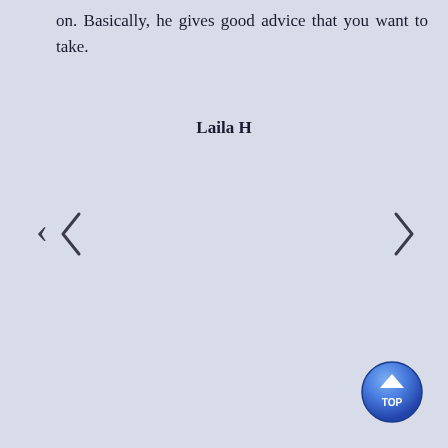on. Basically, he gives good advice that you want to take.
Laila H
[Figure (other): Left navigation arrow chevron (<)]
[Figure (other): Right navigation arrow chevron (>)]
[Figure (other): Blue circular TOP button with upward arrow triangle and text TOP]